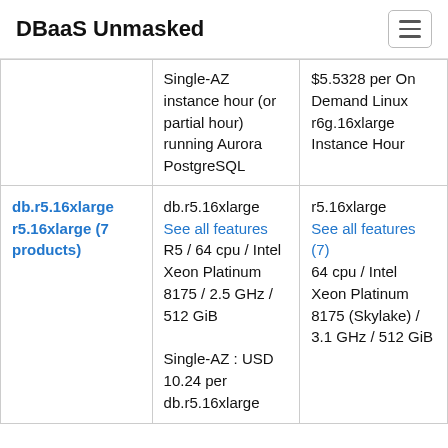DBaaS Unmasked
|  | Single-AZ instance hour (or partial hour) running Aurora PostgreSQL | $5.5328 per On Demand Linux r6g.16xlarge Instance Hour |
| db.r5.16xlarge r5.16xlarge (7 products) | db.r5.16xlarge See all features R5 / 64 cpu / Intel Xeon Platinum 8175 / 2.5 GHz / 512 GiB Single-AZ : USD 10.24 per db.r5.16xlarge | r5.16xlarge See all features (7) 64 cpu / Intel Xeon Platinum 8175 (Skylake) / 3.1 GHz / 512 GiB |